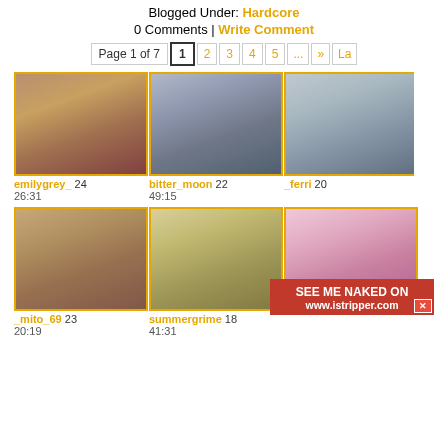Blogged Under: Hardcore
0 Comments | Write Comment
Page 1 of 7  1  2  3  4  5  ...  »  La
[Figure (screenshot): Video thumbnail grid with usernames emilygrey_ 24, bitter_moon 22, _ferri 20, _mito_69 23, summergrime 18, and a partially visible third column entry, with durations 26:31, 49:15, 20:19, 41:31, 24:30. An ad overlay reads SEE ME NAKED ON www.istripper.com with a close button.]